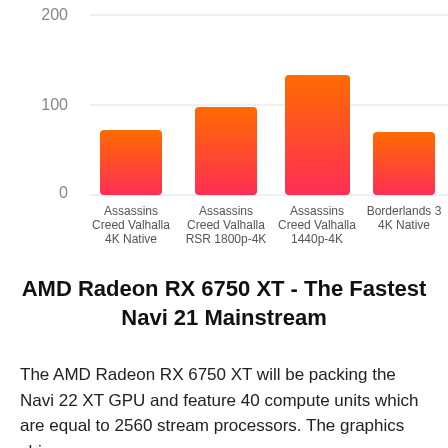[Figure (bar-chart): ]
AMD Radeon RX 6750 XT - The Fastest Navi 21 Mainstream
The AMD Radeon RX 6750 XT will be packing the Navi 22 XT GPU and feature 40 compute units which are equal to 2560 stream processors. The graphics chip